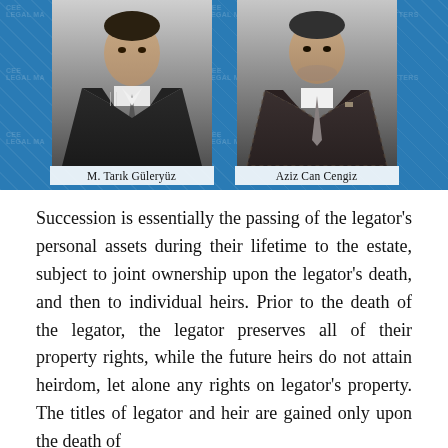[Figure (photo): Two professional headshot photos side by side on a blue background with 'CEE Legal Matters' watermarks. Left person labeled 'M. Tarık Güleryüz', right person labeled 'Aziz Can Cengiz'.]
Succession is essentially the passing of the legator's personal assets during their lifetime to the estate, subject to joint ownership upon the legator's death, and then to individual heirs. Prior to the death of the legator, the legator preserves all of their property rights, while the future heirs do not attain heirdom, let alone any rights on legator's property. The titles of legator and heir are gained only upon the death of